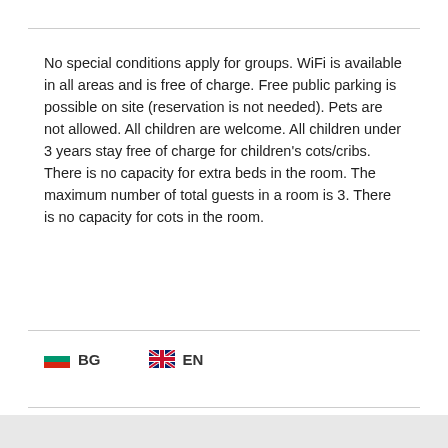No special conditions apply for groups. WiFi is available in all areas and is free of charge. Free public parking is possible on site (reservation is not needed). Pets are not allowed. All children are welcome. All children under 3 years stay free of charge for children's cots/cribs. There is no capacity for extra beds in the room. The maximum number of total guests in a room is 3. There is no capacity for cots in the room.
[Figure (other): Bulgarian flag icon followed by text 'BG', and UK flag icon followed by text 'EN' — language selection links]